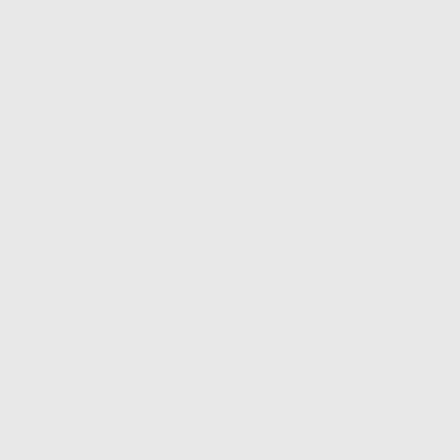ADMV4550ACCZ
Analog Devices Inc
AD6674BCPZ-750
Analog Devices Inc
AD6679-500EBZ
Analog Devices
ADF7030BCPZN-RL
Analog Devices Inc
EV-ADF5901SD2Z
Analog Devices Inc
HMC8100LP6JETR
Analog Devices Inc
AD9864-EBZ
Analog Devices Inc
ADF70301-169EZKIT
Analog Devices